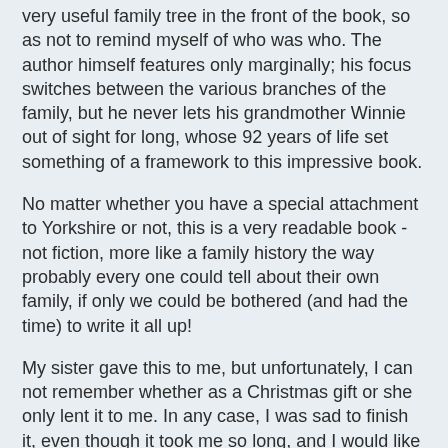very useful family tree in the front of the book, so as not to remind myself of who was who. The author himself features only marginally; his focus switches between the various branches of the family, but he never lets his grandmother Winnie out of sight for long, whose 92 years of life set something of a framework to this impressive book.
No matter whether you have a special attachment to Yorkshire or not, this is a very readable book - not fiction, more like a family history the way probably every one could tell about their own family, if only we could be bothered (and had the time) to write it all up!
My sister gave this to me, but unfortunately, I can not remember whether as a Christmas gift or she only lent it to me. In any case, I was sad to finish it, even though it took me so long, and I would like to read the other book by Richard Benson, "The Farm", which is about the farm (surprise!) the family on his father's side worked and lived on, and where he grew up.
Richard Benson's website is here. Sadly, his blog seems to be hibernating since 2016.